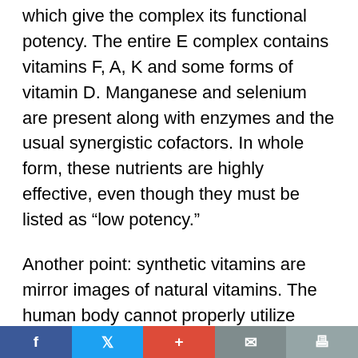which give the complex its functional potency. The entire E complex contains vitamins F, A, K and some forms of vitamin D. Manganese and selenium are present along with enzymes and the usual synergistic cofactors. In whole form, these nutrients are highly effective, even though they must be listed as “low potency.”
Another point: synthetic vitamins are mirror images of natural vitamins. The human body cannot properly utilize synthetic (mirror image) fractions in the same way that natural complexes find their way into the biological reactions so essential to tissue repair and the sustenance of life. A synthetic vitamin fraction
Facebook | Twitter | + | Mail | Print